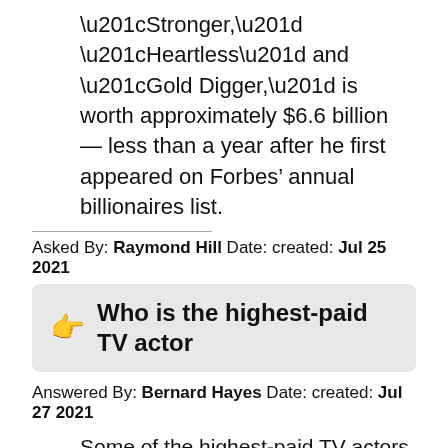“Stronger,” “Heartless” and “Gold Digger,” is worth approximately $6.6 billion — less than a year after he first appeared on Forbes’ annual billionaires list.
Asked By: Raymond Hill Date: created: Jul 25 2021
Who is the highest-paid TV actor
Answered By: Bernard Hayes Date: created: Jul 27 2021
Some of the highest-paid TV actors in history, Sofia Vergara, Ed O’Neill, Julie Bowen, Eric Stonestreet, Jesse Tyler Ferguson and Ty Burrell each earned $500,000 per episode, according to a 2019 Variety report.
Asked By: Seth Ward Date: created: Jul 30 2021